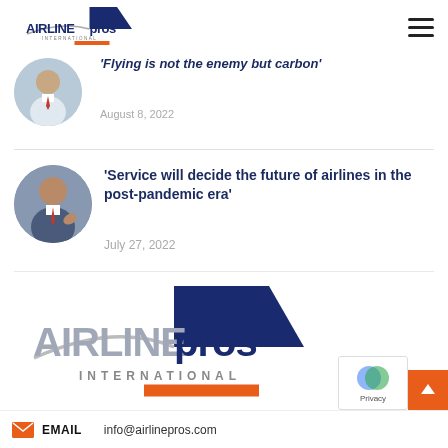AirlinePros International
'Flying is not the enemy but carbon'
August 8, 2022
'Service will decide the future of airlines in the post-pandemic era'
July 27, 2022
[Figure (logo): AirlinePros International large logo]
EMAIL   info@airlinepros.com